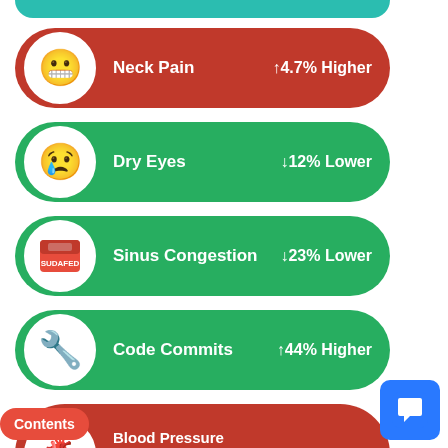Neck Pain ↑4.7% Higher
Dry Eyes ↓12% Lower
Sinus Congestion ↓23% Lower
Code Commits ↑44% Higher
Blood Pressure (Diastolic - Bottom Number) ↓2.9% Lower
Sleep Quality Rating ↑1.6% Higher